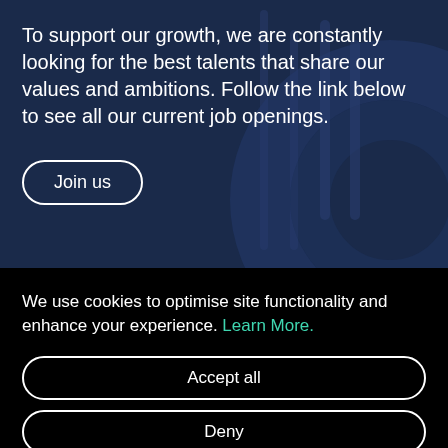To support our growth, we are constantly looking for the best talents that share our values and ambitions. Follow the link below to see all our current job openings.
Join us
We use cookies to optimise site functionality and enhance your experience. Learn More.
Accept all
Deny